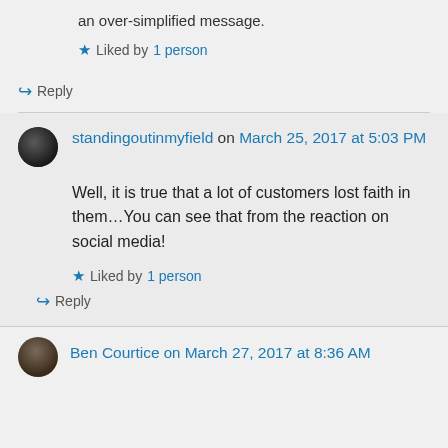an over-simplified message.
★ Liked by 1 person
↪ Reply
standingoutinmyfield on March 25, 2017 at 5:03 PM
Well, it is true that a lot of customers lost faith in them…You can see that from the reaction on social media!
★ Liked by 1 person
↪ Reply
Ben Courtice on March 27, 2017 at 8:36 AM